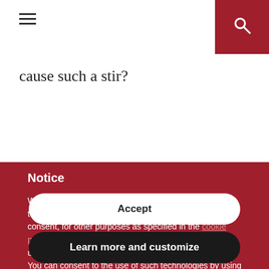cause such a stir?
Notice
We and selected third parties use cookies or similar technologies for technical purposes and, with your consent, for other purposes as specified in the cookie policy. Denying consent may make related features unavailable.
You can consent to the use of such technologies by using the “Accept” button.
Accept
Learn more and customize